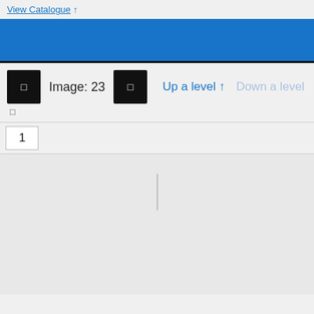View Catalogue ↑
[Figure (screenshot): Blue banner bar with dark bottom border]
Image: 23
Up a level ↑   Down a level
| 1 |
[Figure (screenshot): Light grey content area with a vertical cursor line in the center]